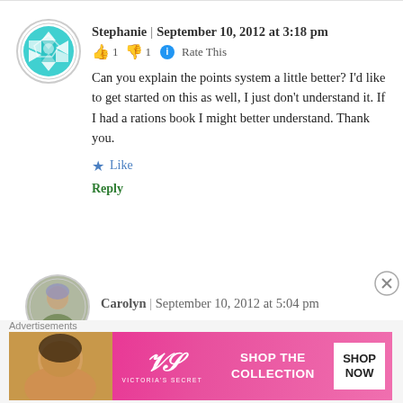[Figure (illustration): Round avatar with teal/cyan geometric snowflake pattern on white background]
Stephanie | September 10, 2012 at 3:18 pm
👍 1 👎 1 ℹ Rate This
Can you explain the points system a little better? I'd like to get started on this as well, I just don't understand it. If I had a rations book I might better understand. Thank you.
★ Like
Reply
[Figure (photo): Round avatar showing a woman with purple-tinted hair outdoors]
Carolyn | September 10, 2012 at 5:04 pm
Advertisements
[Figure (illustration): Victoria's Secret advertisement banner: pink background with model, VS logo, SHOP THE COLLECTION text, and SHOP NOW button]